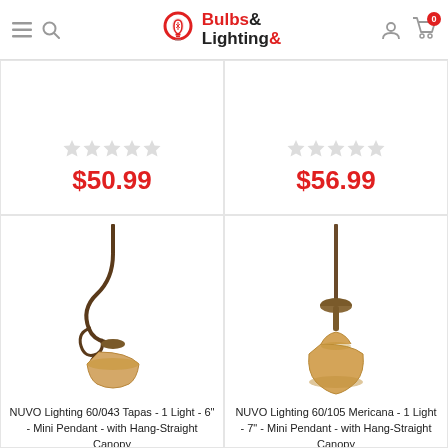[Figure (screenshot): Bulbs & Lighting website header with hamburger menu, search icon, logo, user icon, and cart icon with badge showing 0]
$50.99
$56.99
[Figure (photo): NUVO Lighting 60/043 Tapas - 1 Light - 6" - Mini Pendant - with Hang-Straight Canopy, decorative scrollwork stem with amber glass shade]
[Figure (photo): NUVO Lighting 60/105 Mericana - 1 Light - 7" - Mini Pendant - with Hang-Straight Canopy, straight rod with bell-shaped amber glass shade]
NUVO Lighting 60/043 Tapas - 1 Light - 6" - Mini Pendant - with Hang-Straight Canopy
NUVO Lighting 60/105 Mericana - 1 Light - 7" - Mini Pendant - with Hang-Straight Canopy